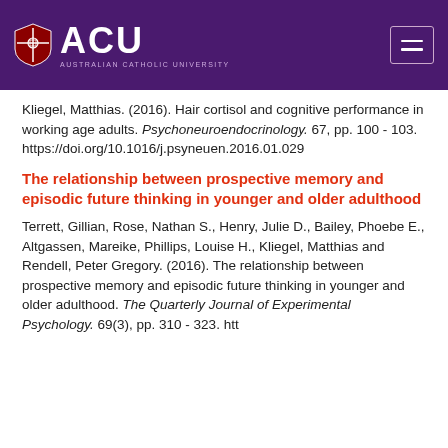[Figure (logo): Australian Catholic University (ACU) logo with shield and navigation menu button on purple header bar]
Kliegel, Matthias. (2016). Hair cortisol and cognitive performance in working age adults. Psychoneuroendocrinology. 67, pp. 100 - 103. https://doi.org/10.1016/j.psyneuen.2016.01.029
The relationship between prospective memory and episodic future thinking in younger and older adulthood
Terrett, Gillian, Rose, Nathan S., Henry, Julie D., Bailey, Phoebe E., Altgassen, Mareike, Phillips, Louise H., Kliegel, Matthias and Rendell, Peter Gregory. (2016). The relationship between prospective memory and episodic future thinking in younger and older adulthood. The Quarterly Journal of Experimental Psychology. 69(3), pp. 310 - 323. htt